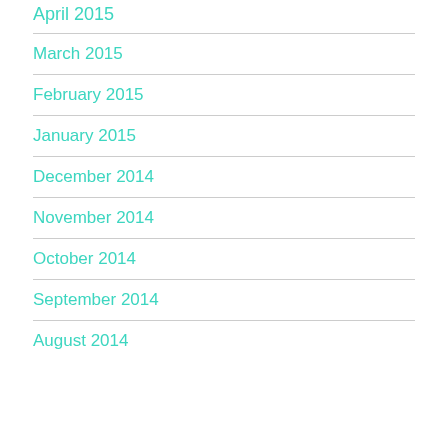April 2015
March 2015
February 2015
January 2015
December 2014
November 2014
October 2014
September 2014
August 2014